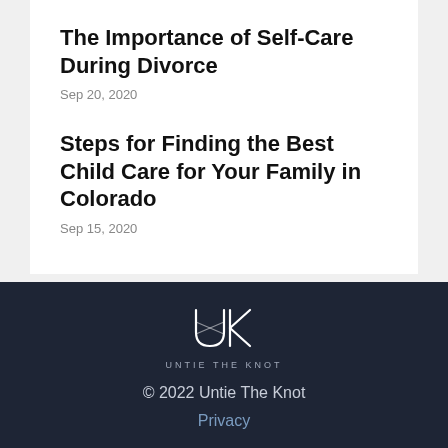The Importance of Self-Care During Divorce
Sep 20, 2020
Steps for Finding the Best Child Care for Your Family in Colorado
Sep 15, 2020
[Figure (logo): Untie The Knot logo — stylized UK monogram with interlocking lines, white on dark background, with text UNTIE THE KNOT below]
© 2022 Untie The Knot
Privacy